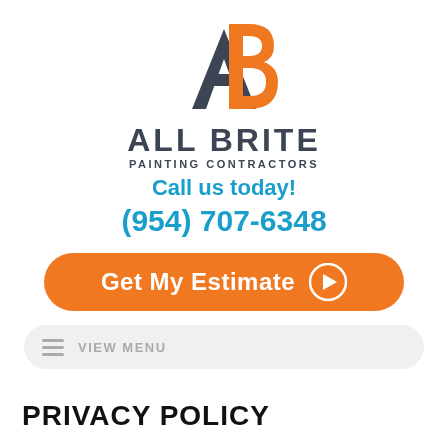[Figure (logo): All Brite Painting Contractors logo: stylized A and B letters, A in dark gray, B in orange]
ALL BRITE
PAINTING CONTRACTORS
Call us today!
(954) 707-6348
[Figure (other): Orange rounded button with white text: Get My Estimate and a right-arrow circle icon]
[Figure (other): Light gray pill-shaped menu bar with hamburger icon and VIEW MENU text]
PRIVACY POLICY